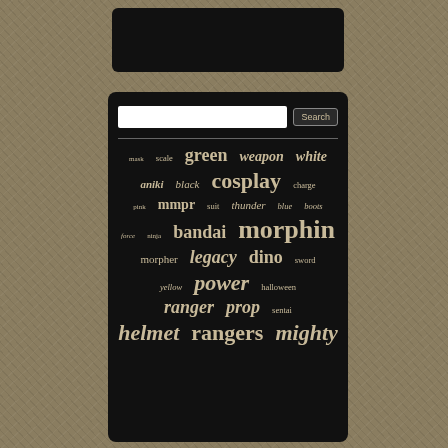[Figure (screenshot): A website search widget with dark background showing a tag cloud of Power Rangers related keywords. Keywords include: mask, scale, green, weapon, white, aniki, black, cosplay, charge, pink, mmpr, suit, thunder, blue, boots, force, ninja, bandai, morphin, morpher, legacy, dino, sword, yellow, power, halloween, ranger, prop, sentai, helmet, rangers, mighty. Words are displayed in varying font sizes reflecting their relative frequency/importance.]
mask scale green weapon white aniki black cosplay charge pink mmpr suit thunder blue boots force ninja bandai morphin morpher legacy dino sword yellow power halloween ranger prop sentai helmet rangers mighty